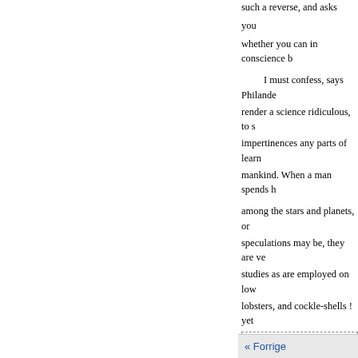such a reverse, and asks you whether you can in conscience b
I must confess, says Philande render a science ridiculous, to s impertinences any parts of learn mankind. When a man spends h
among the stars and planets, or speculations may be, they are ve studies as are employed on low lobsters, and cockle-shells ! yet
1 Substantives terminating i now say, authenticity.
2 Judiciously distinguishes been, "judiciously observes the another ; or, to distinguish bet the word distinguishes be here it from that of an ancient coin. this not to be that. The word d which is consequent to disting
« Forrige